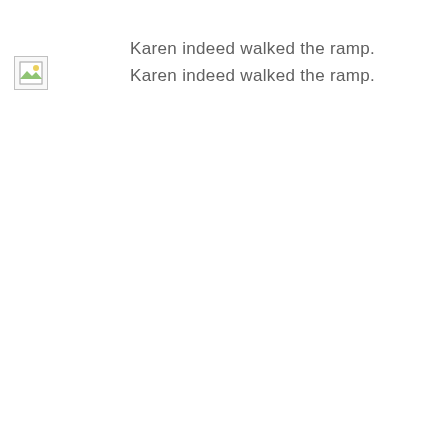[Figure (other): Broken/missing image placeholder icon in top-left area]
Karen indeed walked the ramp.
Karen indeed walked the ramp.